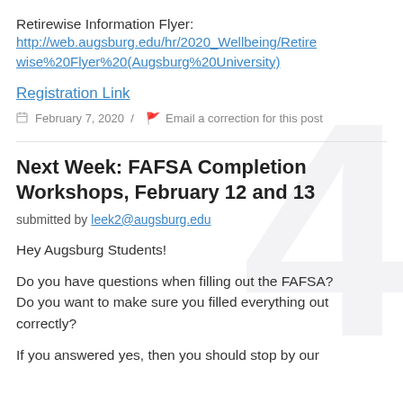Retirewise Information Flyer:
http://web.augsburg.edu/hr/2020_Wellbeing/Retirewise%20Flyer%20(Augsburg%20University)
Registration Link
February 7, 2020 / Email a correction for this post
Next Week: FAFSA Completion Workshops, February 12 and 13
submitted by leek2@augsburg.edu
Hey Augsburg Students!
Do you have questions when filling out the FAFSA?
Do you want to make sure you filled everything out correctly?
If you answered yes, then you should stop by our